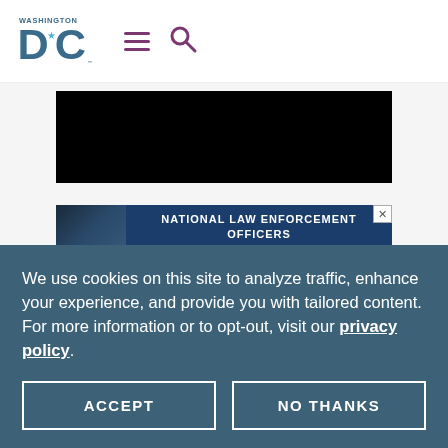Washington DC logo with hamburger menu and search icon
[Figure (photo): Black image/video placeholder area]
[Figure (photo): National Law Enforcement Officers Museum advertisement banner with close button]
We use cookies on this site to analyze traffic, enhance your experience, and provide you with tailored content. For more information or to opt-out, visit our privacy policy.
ACCEPT
NO THANKS